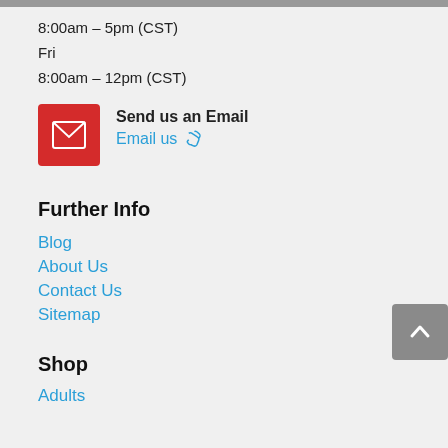8:00am – 5pm (CST)
Fri
8:00am – 12pm (CST)
Send us an Email
Email us
Further Info
Blog
About Us
Contact Us
Sitemap
Shop
Adults